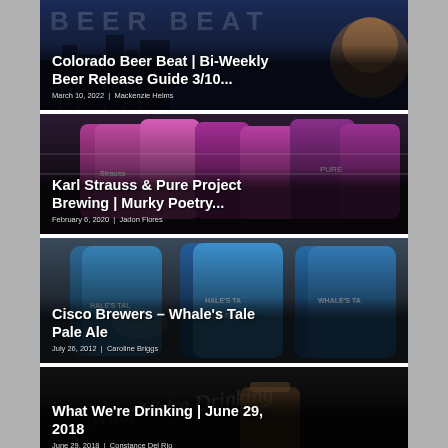[Figure (photo): Card with dark blue background showing BEER BEAT text and cartoon character, overlaid with article title and author metadata]
Colorado Beer Beat | Bi-Weekly Beer Release Guide 3/10...
March 10, 2022 | Mackenzie Helms
[Figure (photo): Photo of colorful beer cans in a carrier, purple and pink colors, with article title overlaid]
Karl Strauss & Pure Project Brewing | Murky Poetry...
February 6, 2020 | Jadon Flores
[Figure (photo): Photo of blue Whale's Tale Pale Ale cans from Cisco Brewers with article title overlaid]
Cisco Brewers – Whale's Tale Pale Ale
July 26, 2012 | Caroline Briggs
[Figure (photo): Dark background with What We're Drinking text overlay, showing a beer can]
What We're Drinking | June 29, 2018
June 29, 2018 | Constance Del Rio